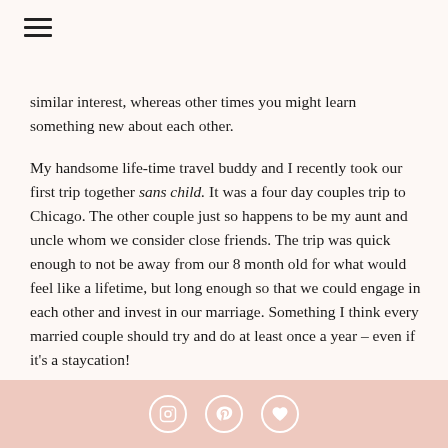similar interest, whereas other times you might learn something new about each other.
My handsome life-time travel buddy and I recently took our first trip together sans child. It was a four day couples trip to Chicago. The other couple just so happens to be my aunt and uncle whom we consider close friends. The trip was quick enough to not be away from our 8 month old for what would feel like a lifetime, but long enough so that we could engage in each other and invest in our marriage. Something I think every married couple should try and do at least once a year – even if it's a staycation!